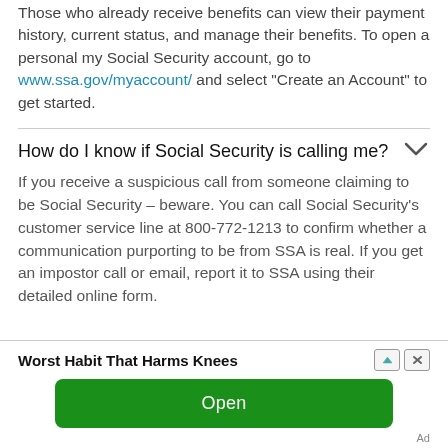Those who already receive benefits can view their payment history, current status, and manage their benefits. To open a personal my Social Security account, go to www.ssa.gov/myaccount/ and select “Create an Account” to get started.
How do I know if Social Security is calling me?
If you receive a suspicious call from someone claiming to be Social Security – beware. You can call Social Security’s customer service line at 800-772-1213 to confirm whether a communication purporting to be from SSA is real. If you get an impostor call or email, report it to SSA using their detailed online form.
[Figure (other): Advertisement banner: 'Worst Habit That Harms Knees' with navigation/close buttons and an 'Open' green button, labeled 'Ad']